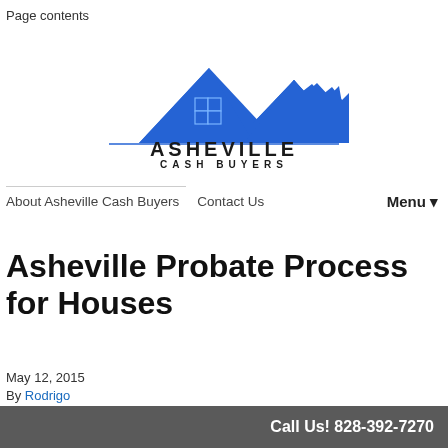Page contents
[Figure (logo): Asheville Cash Buyers logo with house and mountain silhouette in blue, with text ASHEVILLE CASH BUYERS below]
About Asheville Cash Buyers   Contact Us   Menu ▼
Asheville Probate Process for Houses
May 12, 2015
By Rodrigo
[Figure (photo): Partial photo of a building with blue sky background]
Call Us! 828-392-7270